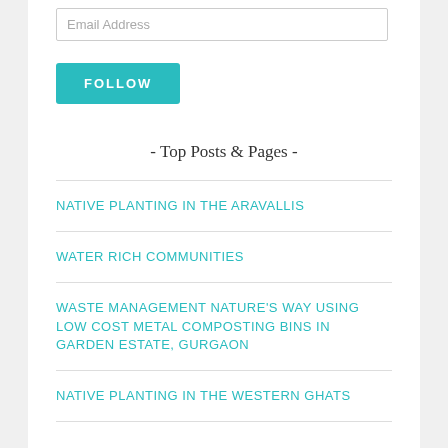Email Address
FOLLOW
- Top Posts & Pages -
NATIVE PLANTING IN THE ARAVALLIS
WATER RICH COMMUNITIES
WASTE MANAGEMENT NATURE'S WAY USING LOW COST METAL COMPOSTING BINS IN GARDEN ESTATE, GURGAON
NATIVE PLANTING IN THE WESTERN GHATS